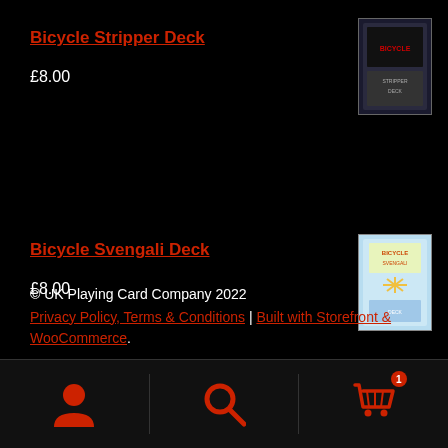Bicycle Stripper Deck
£8.00
[Figure (photo): Product image of Bicycle Stripper Deck card box]
Bicycle Svengali Deck
£8.00
[Figure (photo): Product image of Bicycle Svengali Deck card box]
© UK Playing Card Company 2022
Privacy Policy, Terms & Conditions | Built with Storefront & WooCommerce.
[Figure (infographic): Bottom navigation bar with user account icon, search icon, and shopping cart icon with badge showing 1 item]